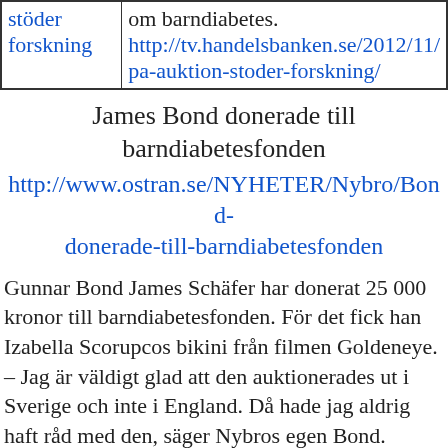| stöder
forskning | om barndiabetes.
http://tv.handelsbanken.se/2012/11/pa-auktion-stoder-forskning/ |
James Bond donerade till barndiabetesfonden
http://www.ostran.se/NYHETER/Nybro/Bond-donerade-till-barndiabetesfonden
Gunnar Bond James Schäfer har donerat 25 000 kronor till barndiabetesfonden. För det fick han Izabella Scorupcos bikini från filmen Goldeneye.
– Jag är väldigt glad att den auktionerades ut i Sverige och inte i England. Då hade jag aldrig haft råd med den, säger Nybros egen Bond.